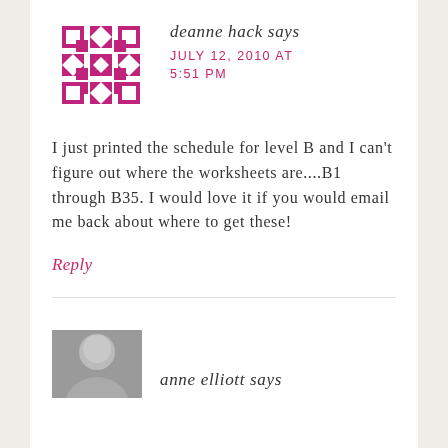[Figure (illustration): Geometric avatar icon made of pink/magenta squares and diamond shapes arranged in a quilted pattern]
deanne hack says
JULY 12, 2010 AT 5:51 PM
I just printed the schedule for level B and I can't figure out where the worksheets are....B1 through B35. I would love it if you would email me back about where to get these!
Reply
[Figure (photo): Partial photo of anne elliott, showing top of head/face, grayscale]
anne elliott says